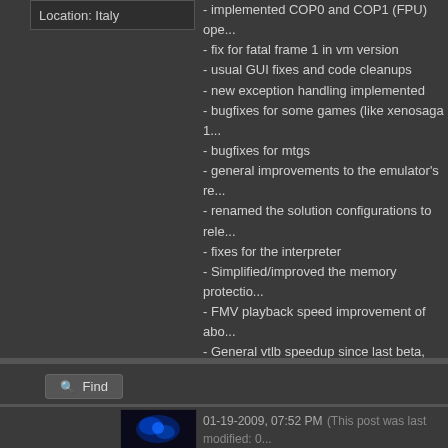Location: Italy
- implemented COP0 and COP1 (FPU) op...
- fix for fatal frame 1 in vm version
- usual GUI fixes and code cleanups
- new exception handling implemented
- bugfixes for some games (like xenosaga 1...
- bugfixes for mtgs
- general improvements to the emulator's re...
- renamed the solution configurations to rele...
- fixes for the interpreter
- Simplified/improved the memory protectio...
- FMV playback speed improvement of abo...
- General vtlb speedup since last beta, 563...
Enjoy
Known Issues:
Metal Gear Solid 3 crashes
Vuskip is not working correctly. If you have ...
Some users reported problems entering bio...
Find
01-19-2009, 07:52 PM (This post was last modified: 0...